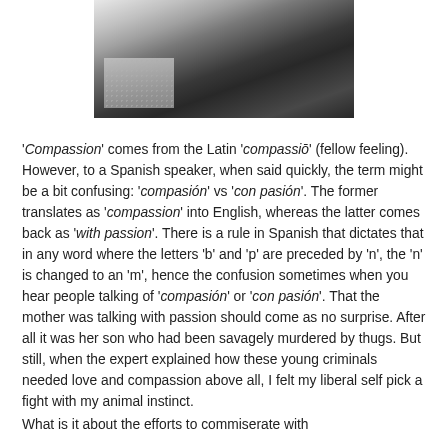[Figure (photo): Black and white photograph, partially cropped, showing a person with dotted/lace fabric visible at bottom left and dark background.]
'Compassion' comes from the Latin 'compassiō' (fellow feeling). However, to a Spanish speaker, when said quickly, the term might be a bit confusing: 'compasión' vs 'con pasión'. The former translates as 'compassion' into English, whereas the latter comes back as 'with passion'. There is a rule in Spanish that dictates that in any word where the letters 'b' and 'p' are preceded by 'n', the 'n' is changed to an 'm', hence the confusion sometimes when you hear people talking of 'compasión' or 'con pasión'. That the mother was talking with passion should come as no surprise. After all it was her son who had been savagely murdered by thugs. But still, when the expert explained how these young criminals needed love and compassion above all, I felt my liberal self pick a fight with my animal instinct.
What is it about the efforts to commiserate with